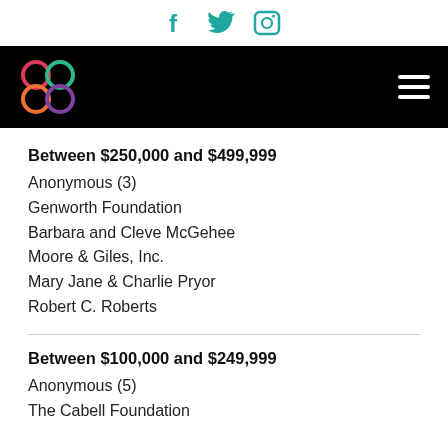Social media icons: Facebook, Twitter, Instagram
[Figure (logo): Organization logo with colored circles (red, green, orange, purple) on black background navigation bar with hamburger menu]
Between $250,000 and $499,999
Anonymous (3)
Genworth Foundation
Barbara and Cleve McGehee
Moore & Giles, Inc.
Mary Jane & Charlie Pryor
Robert C. Roberts
Between $100,000 and $249,999
Anonymous (5)
The Cabell Foundation